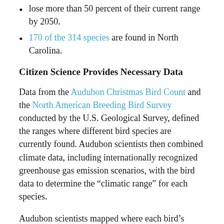lose more than 50 percent of their current range by 2050.
170 of the 314 species are found in North Carolina.
Citizen Science Provides Necessary Data
Data from the Audubon Christmas Bird Count and the North American Breeding Bird Survey conducted by the U.S. Geological Survey, defined the ranges where different bird species are currently found. Audubon scientists then combined climate data, including internationally recognized greenhouse gas emission scenarios, with the bird data to determine the “climatic range” for each species.
Audubon scientists mapped where each bird’s climatic range is likely to be move in the future as the effects of climate change on food, water…